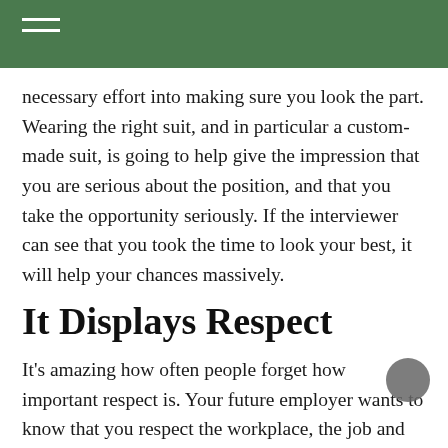necessary effort into making sure you look the part. Wearing the right suit, and in particular a custom-made suit, is going to help give the impression that you are serious about the position, and that you take the opportunity seriously. If the interviewer can see that you took the time to look your best, it will help your chances massively.
It Displays Respect
It's amazing how often people forget how important respect is. Your future employer wants to know that you respect the workplace, the job and the company, and that you are going to